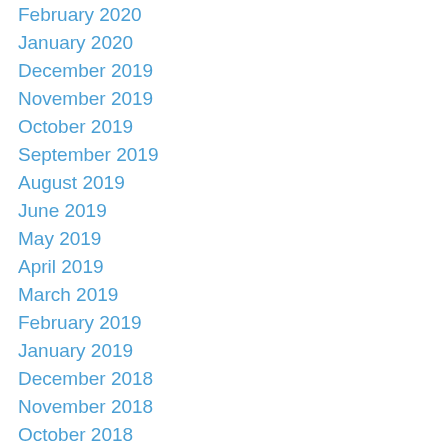February 2020
January 2020
December 2019
November 2019
October 2019
September 2019
August 2019
June 2019
May 2019
April 2019
March 2019
February 2019
January 2019
December 2018
November 2018
October 2018
September 2018
August 2018
July 2018
June 2018